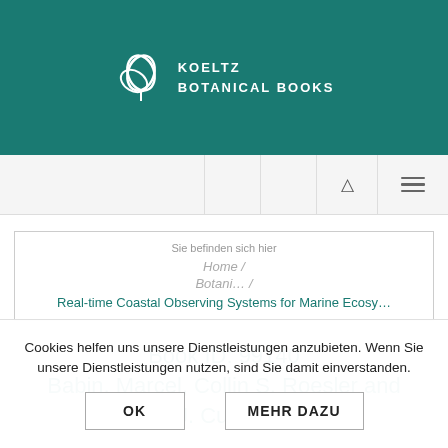KOELTZ BOTANICAL BOOKS
Sie befinden sich hier
Home /
Botani… /
Real-time Coastal Observing Systems for Marine Ecosy…
Book ID: 99140
Babin, Marcel, Collin S. Roesler and John J. Cullen (eds.)
Cookies helfen uns unsere Dienstleistungen anzubieten. Wenn Sie unsere Dienstleistungen nutzen, sind Sie damit einverstanden.
OK
MEHR DAZU